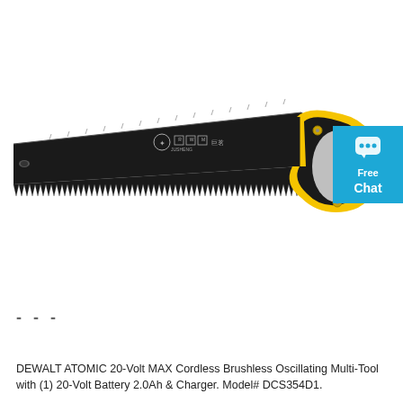[Figure (photo): A hand saw with a black blade featuring measurement markings and serrated teeth along the bottom edge, and a yellow and black ergonomic handle with screws. The blade has logos and Chinese characters. Brand: JUSHENG.]
- - -
DEWALT ATOMIC 20-Volt MAX Cordless Brushless Oscillating Multi-Tool with (1) 20-Volt Battery 2.0Ah & Charger. Model# DCS354D1.